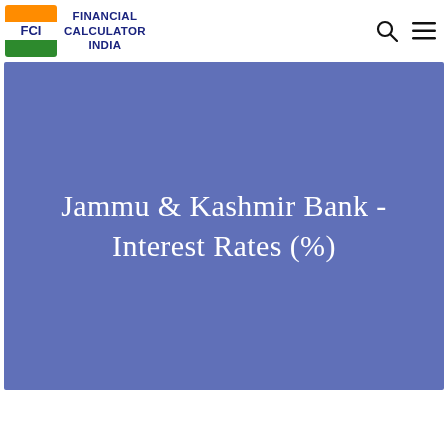Financial Calculator India
Jammu & Kashmir Bank - Interest Rates (%)